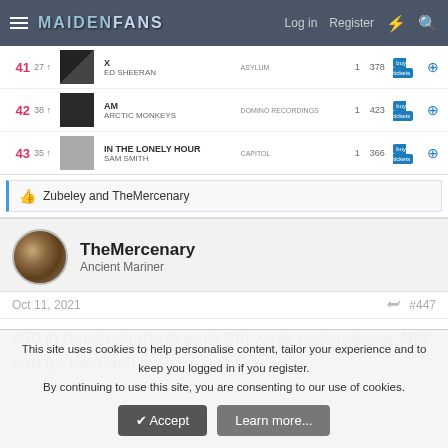MaidenFans — Log in  Register
| Rank | Prev | Album | Artist | Label | Wks | Plays | Buy | Add |
| --- | --- | --- | --- | --- | --- | --- | --- | --- |
| 41 | 27↑ | X | ED SHEERAN | ASYLUM | 1 | 378 | buy tickets | + |
| 42 | 38↑ | AM | ARCTIC MONKEYS | DOMINO RECORDINGS | 1 | 423 | buy tickets | + |
| 43 | 35↑ | IN THE LONELY HOUR | SAM SMITH | CAPITOL | 1 | 366 | buy tickets | + |
Zubeley and TheMercenary
TheMercenary
Ancient Mariner
Oct 11, 2021  #447
#30 in french charts in early 6th week post-release. Not bad for the band in France. 🙂
This site uses cookies to help personalise content, tailor your experience and to keep you logged in if you register.
By continuing to use this site, you are consenting to our use of cookies.
Accept  Learn more...